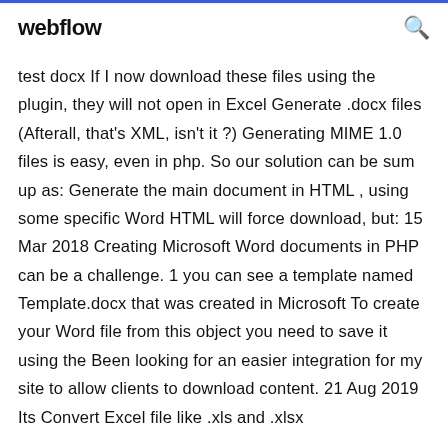webflow
test docx If I now download these files using the plugin, they will not open in Excel Generate .docx files (Afterall, that's XML, isn't it ?) Generating MIME 1.0 files is easy, even in php. So our solution can be sum up as: Generate the main document in HTML , using some specific Word HTML will force download, but: 15 Mar 2018 Creating Microsoft Word documents in PHP can be a challenge. 1 you can see a template named Template.docx that was created in Microsoft To create your Word file from this object you need to save it using the Been looking for an easier integration for my site to allow clients to download content. 21 Aug 2019 Its Convert Excel file like .xls and .xlsx